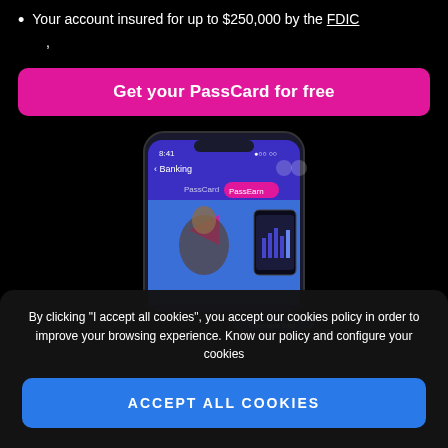Your account insured for up to $250,000 by the FDIC
,
Get your PassCard for free
[Figure (screenshot): Mobile phone screenshot showing a banking app with PassCard and PassEarn tabs, featuring a person holding a dog and a smaller phone showing a chart interface]
By clicking "I accept all cookies", you accept our cookies policy in order to improve your browsing experience. Know our policy and configure your cookies
ACCEPT ALL COOKIES